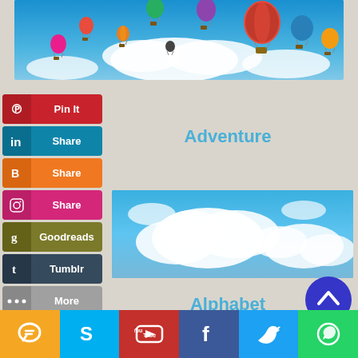[Figure (photo): Hot air balloons of various colors floating in a bright blue sky with white clouds]
Pin It
Share (LinkedIn)
Share (Blogger)
Share (Instagram)
Goodreads
Tumblr
More
Adventure
[Figure (photo): Blue sky with white fluffy clouds, no balloons visible]
Alphabet
[Figure (infographic): Bottom social sharing bar with icons: messages/chat (orange), Skype (light blue), YouTube (red), Facebook (dark blue), Twitter (blue), WhatsApp (green)]